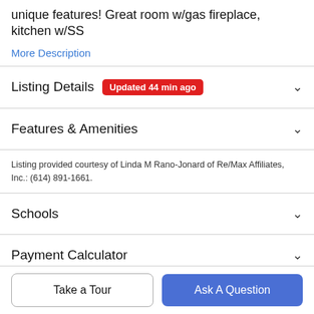unique features! Great room w/gas fireplace, kitchen w/SS
More Description
Listing Details  Updated 44 min ago
Features & Amenities
Listing provided courtesy of Linda M Rano-Jonard of Re/Max Affiliates, Inc.: (614) 891-1661.
Schools
Payment Calculator
Take a Tour
Ask A Question